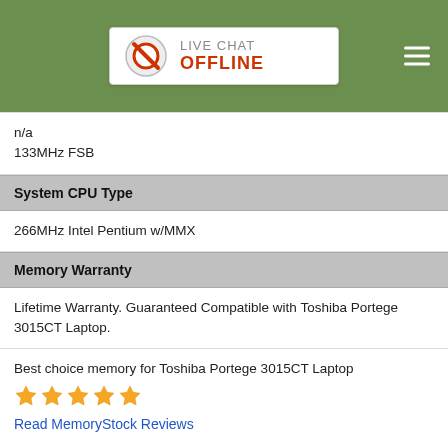LIVE CHAT OFFLINE
n/a
133MHz FSB
System CPU Type
266MHz Intel Pentium w/MMX
Memory Warranty
Lifetime Warranty. Guaranteed Compatible with Toshiba Portege 3015CT Laptop.
Best choice memory for Toshiba Portege 3015CT Laptop
★★★★★
Read MemoryStock Reviews
General Memory Installation Video
View Toshiba Laptop Memory Installation Video
Shipping Options